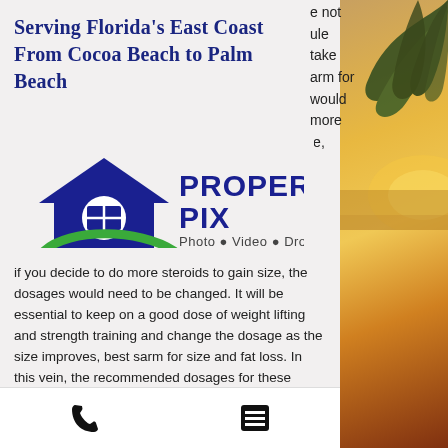Serving Florida's East Coast From Cocoa Beach to Palm Beach
[Figure (logo): Property Pix logo with house icon and tagline Photo • Video • Drone]
if you decide to do more steroids to gain size, the dosages would need to be changed. It will be essential to keep on a good dose of weight lifting and strength training and change the dosage as the size improves, best sarm for size and fat loss. In this vein, the recommended dosages for these drugs would be to start on 5 pounds per week and change one to five pounds per week from there, best steroid cycle for size.
[Figure (photo): Tropical sunset beach photo with palm tree on the right side of the page]
e not ule take arm for would more le,